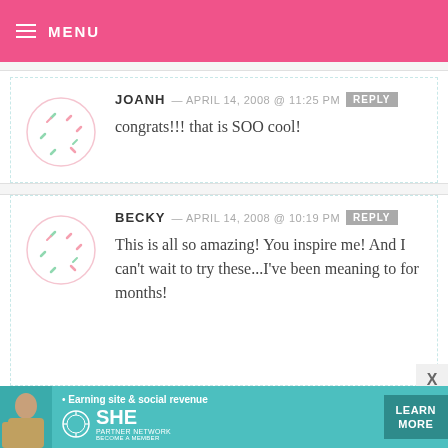MENU
JOANH — APRIL 14, 2008 @ 11:25 PM  REPLY
congrats!!! that is SOO cool!
BECKY — APRIL 14, 2008 @ 10:19 PM  REPLY
This is all so amazing! You inspire me! And I can't wait to try these...I've been meaning to for months!
[Figure (infographic): SHE Partner Network advertisement banner with teal background, woman photo, bullet text 'Earning site & social revenue', SHE logo, PARTNER NETWORK / BECOME A MEMBER text, and LEARN MORE button]